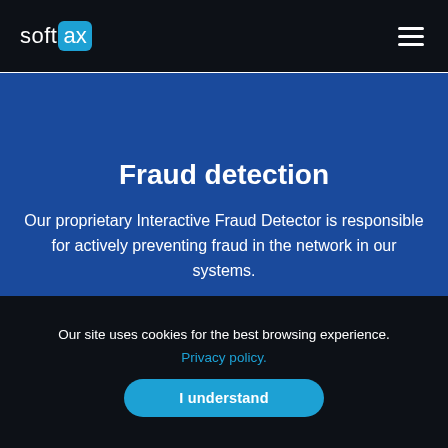[Figure (logo): Softax logo: white text 'soft' followed by a cyan rounded rectangle containing 'ax']
Fraud detection
Our proprietary Interactive Fraud Detector is responsible for actively preventing fraud in the network in our systems.
[Figure (screenshot): Partial screenshot of a dark-themed dashboard interface with a small white rectangle visible]
Our site uses cookies for the best browsing experience.
Privacy policy.
I understand